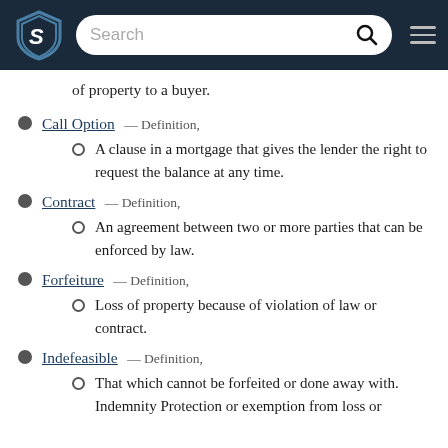Search bar with logo
of property to a buyer.
Call Option — Definition, A clause in a mortgage that gives the lender the right to request the balance at any time.
Contract — Definition, An agreement between two or more parties that can be enforced by law.
Forfeiture — Definition, Loss of property because of violation of law or contract.
Indefeasible — Definition, That which cannot be forfeited or done away with. Indemnity Protection or exemption from loss or